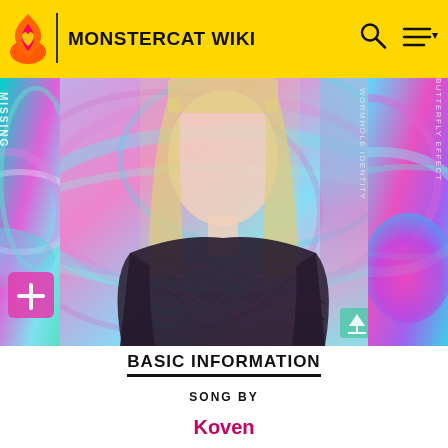MONSTERCAT WIKI
[Figure (photo): Monstercat Wiki page showing album art gallery: center image of blonde woman in black mesh top with colorful holographic/iridescent background, left partial image with 'Missing' text and pink/teal swirl art, right partial image with 'Butterfly Effect' text and pink holographic art]
BASIC INFORMATION
SONG BY
Koven